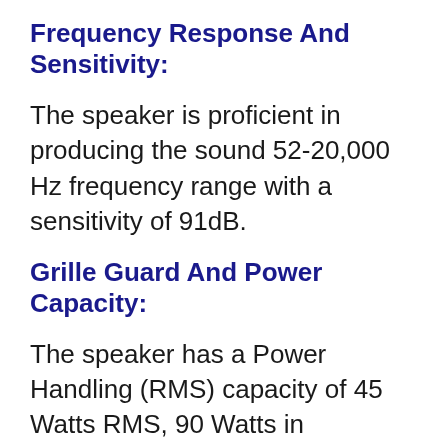Frequency Response And Sensitivity:
The speaker is proficient in producing the sound 52-20,000 Hz frequency range with a sensitivity of 91dB.
Grille Guard And Power Capacity:
The speaker has a Power Handling (RMS) capacity of 45 Watts RMS, 90 Watts in maximum.